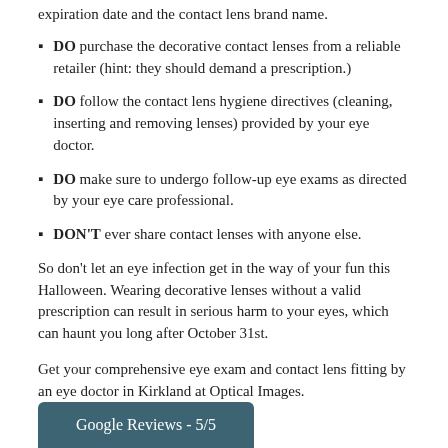expiration date and the contact lens brand name.
DO purchase the decorative contact lenses from a reliable retailer (hint: they should demand a prescription.)
DO follow the contact lens hygiene directives (cleaning, inserting and removing lenses) provided by your eye doctor.
DO make sure to undergo follow-up eye exams as directed by your eye care professional.
DON'T ever share contact lenses with anyone else.
So don't let an eye infection get in the way of your fun this Halloween. Wearing decorative lenses without a valid prescription can result in serious harm to your eyes, which can haunt you long after October 31st.
Get your comprehensive eye exam and contact lens fitting by an eye doctor in Kirkland at Optical Images.
[Figure (other): Google Reviews - 5/5 button in dark teal color]